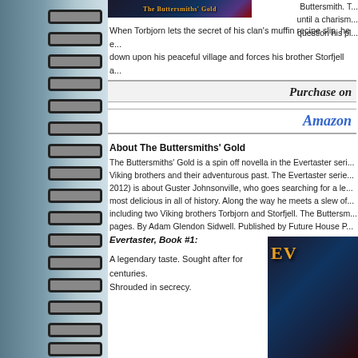[Figure (illustration): Book cover image for The Buttersmiths Gold with dark fantasy styling and orange title text]
Buttersmith. T... until a charism... question his pl...
When Torbjorn lets the secret of his clan's muffin recipe slip, he ... down upon his peaceful village and forces his brother Storfjell a... thing they are ill-prepared to do: battle for their lives.
Purchase on
Amazon
About The Buttersmiths' Gold
The Buttersmiths' Gold is a spin off novella in the Evertaster seri... Viking brothers and their adventurous past. The Evertaster serie... 2012) is about Guster Johnsonville, who goes searching for a le... most delicious in all of history. Along the way he meets a slew of... including two Viking brothers Torbjorn and Storfjell. The Buttersm... pages. By Adam Glendon Sidwell. Published by Future House P...
Evertaster, Book #1:
A legendary taste. Sought after for centuries.
Shrouded in secrecy.
[Figure (illustration): Evertaster book cover image in lower right corner]